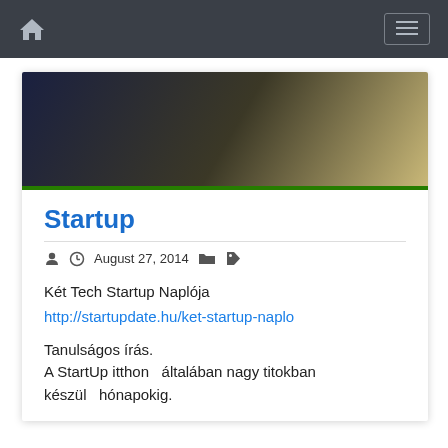Navigation bar with home icon and menu button
[Figure (photo): Banner image with dark blue to tan gradient, green border at bottom]
Startup
August 27, 2014
Két Tech Startup Naplója
http://startupdate.hu/ket-startup-naplo

Tanulságos írás.
A StartUp itthon  általában nagy titokban
készül  hónapokig.